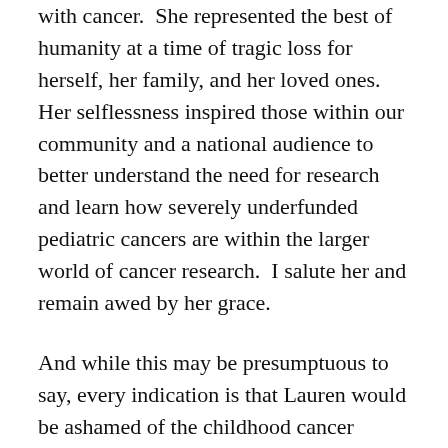with cancer.  She represented the best of humanity at a time of tragic loss for herself, her family, and her loved ones.  Her selflessness inspired those within our community and a national audience to better understand the need for research and learn how severely underfunded pediatric cancers are within the larger world of cancer research.  I salute her and remain awed by her grace.
And while this may be presumptuous to say, every indication is that Lauren would be ashamed of the childhood cancer community's response to the ESPY award announcement.  Like petulant children, I have seen countless activists bemoan Jenner's selection for a courage award, demanding that Lauren be recognized for her clear superiority over someone who undergoes elective surgery.  The rhetoric has been shameful, though most of it is couched in politically correct terms so as to ensure everyone knows that the childhood cancer